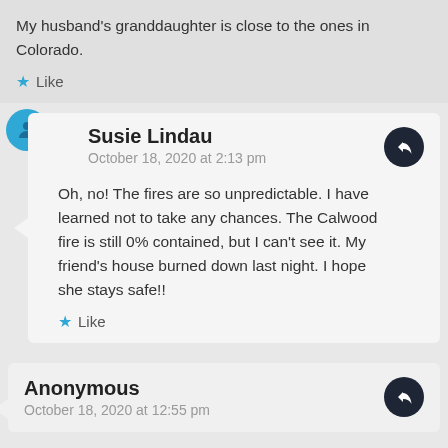My husband's granddaughter is close to the ones in Colorado.
Like
Susie Lindau
October 18, 2020 at 2:13 pm
Oh, no! The fires are so unpredictable. I have learned not to take any chances. The Calwood fire is still 0% contained, but I can't see it. My friend's house burned down last night. I hope she stays safe!!
Like
Anonymous
October 18, 2020 at 12:55 pm